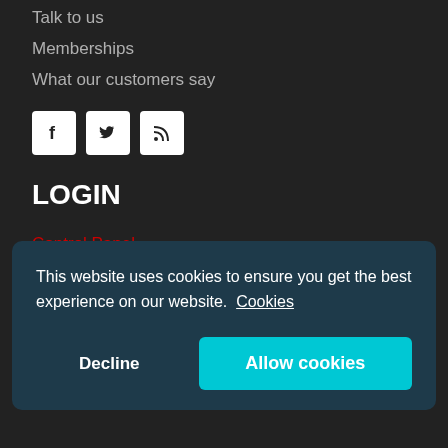Talk to us
Memberships
What our customers say
[Figure (other): Social media icons: Facebook, Twitter, RSS feed]
LOGIN
Control Panel
Domain Renewal
This website uses cookies to ensure you get the best experience on our website. Cookies
Decline  Allow cookies